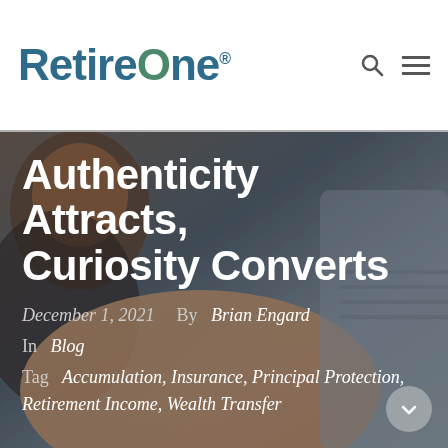RetireOne®
[Figure (photo): Background photo of two people shaking hands, one smiling man visible in upper left, blurred background]
Authenticity Attracts, Curiosity Converts
December 1, 2021   By   Brian Engard
In   Blog
Tag   Accumulation, Insurance, Principal Protection, Retirement Income, Wealth Transfer